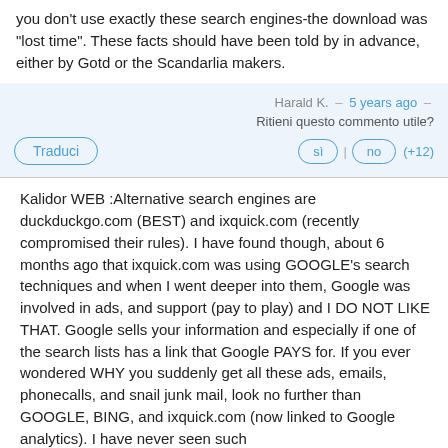you don't use exactly these search engines-the download was "lost time". These facts should have been told by in advance, either by Gotd or the Scandarlia makers.
Harald K.  –  5 years ago  –  Ritieni questo commento utile?
Traduci | sì | no | (+12)
Kalidor WEB :Alternative search engines are duckduckgo.com (BEST) and ixquick.com (recently compromised their rules). I have found though, about 6 months ago that ixquick.com was using GOOGLE's search techniques and when I went deeper into them, Google was involved in ads, and support (pay to play) and I DO NOT LIKE THAT. Google sells your information and especially if one of the search lists has a link that Google PAYS for. If you ever wondered WHY you suddenly get all these ads, emails, phonecalls, and snail junk mail, look no further than GOOGLE, BING, and ixquick.com (now linked to Google analytics). I have never seen such